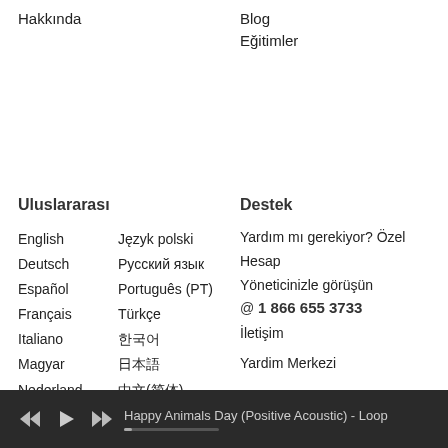Hakkında
Blog
Eğitimler
Uluslararası
English
Język polski
Deutsch
Русский язык
Español
Português (PT)
Français
Türkçe
Italiano
한국어
Magyar
日本語
Nederland
中文(简体)
Destek
Yardım mı gerekiyor? Özel Hesap Yöneticinizle görüşün
@ 1 866 655 3733
İletişim
Yardim Merkezi
Happy Animals Day (Positive Acoustic) - Loop